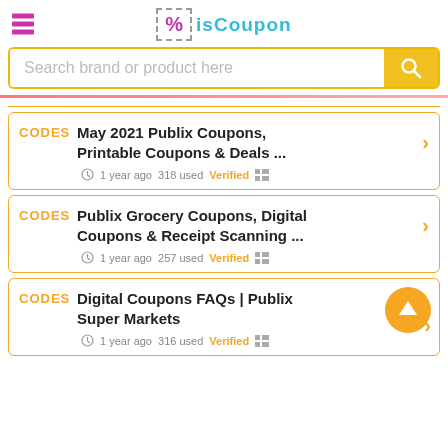isCoupon logo with search bar
CODES — May 2021 Publix Coupons, Printable Coupons & Deals ... | 1 year ago 318 used Verified
CODES — Publix Grocery Coupons, Digital Coupons & Receipt Scanning ... | 1 year ago 257 used Verified
CODES — Digital Coupons FAQs | Publix Super Markets | 1 year ago 316 used Verified